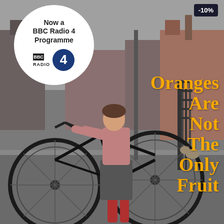[Figure (photo): Black and white / muted color vintage photograph of a young girl in a pleated skirt and pink top with red Wellington boots, leaning over the handlebars of a large bicycle on a gloomy street with brick buildings in the background.]
[Figure (logo): BBC Radio 4 logo badge — circular white badge with text 'Now a BBC Radio 4 Programme', the BBC three-box logo, the word RADIO, and a large navy circle with the number 4.]
-10%
Oranges Are Not The Only Fruit